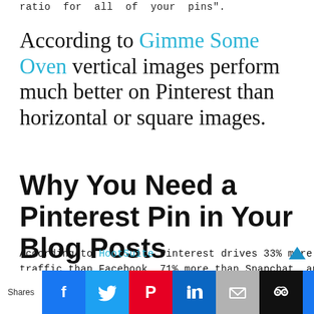ratio for all of your pins".
According to Gimme Some Oven vertical images perform much better on Pinterest than horizontal or square images.
Why You Need a Pinterest Pin in Your Blog Posts
According to HootSuite Pinterest drives 33% more traffic than Facebook, 71% more than Snapchat, and 200% more traffic than TWITTER! AdEspresso states that 73% of pinners in a recent study found branded content useful.
Shares [social icons: Facebook, Twitter, Pinterest, LinkedIn, Email, Hootsuite, Crown]